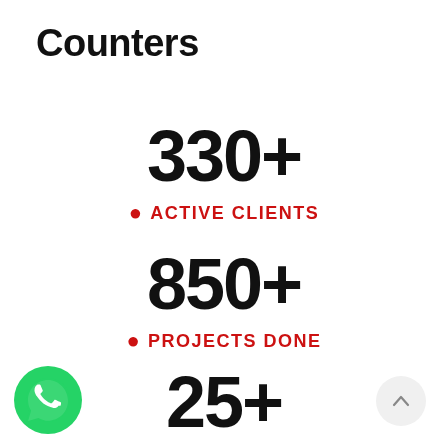Counters
330+
ACTIVE CLIENTS
850+
PROJECTS DONE
25+
TEAM ADVISORS